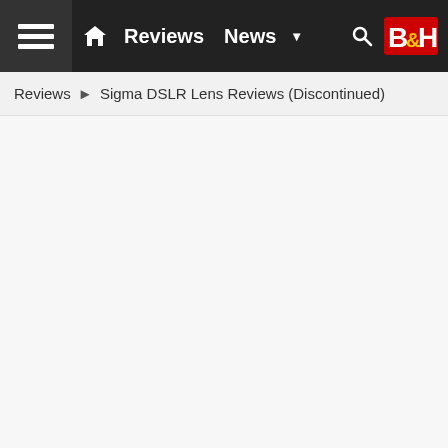[Figure (screenshot): Website navigation bar with dark background containing a menu icon, home icon, Reviews link, News link, dropdown arrow, search icon, and B&H logo]
Reviews ► Sigma DSLR Lens Reviews (Discontinued)